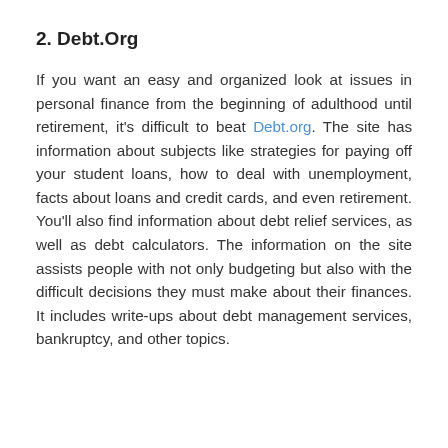2. Debt.Org
If you want an easy and organized look at issues in personal finance from the beginning of adulthood until retirement, it's difficult to beat Debt.org. The site has information about subjects like strategies for paying off your student loans, how to deal with unemployment, facts about loans and credit cards, and even retirement. You'll also find information about debt relief services, as well as debt calculators. The information on the site assists people with not only budgeting but also with the difficult decisions they must make about their finances. It includes write-ups about debt management services, bankruptcy, and other topics.